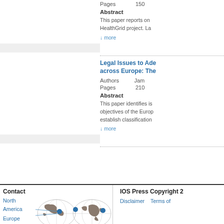Pages   150
Abstract
This paper reports on HealthGrid project. La
↓ more
Legal Issues to Ade across Europe: The
Authors   Jam
Pages   210
Abstract
This paper identifies is objectives of the Europ establish classification
↓ more
Contact
[Figure (map): World map with blue dots for North America, Europe, and Asia office locations]
North America
Europe
Asia
IOS Press Copyright 2
Disclaimer   Terms of